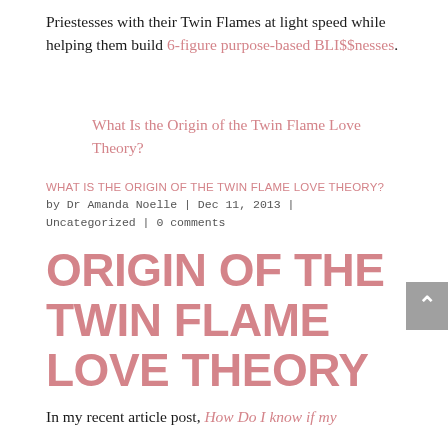Priestesses with their Twin Flames at light speed while helping them build 6-figure purpose-based BLI$$nesses.
[Figure (illustration): Broken image placeholder with alt text: What Is the Origin of the Twin Flame Love Theory?]
WHAT IS THE ORIGIN OF THE TWIN FLAME LOVE THEORY?
by Dr Amanda Noelle | Dec 11, 2013 | Uncategorized | 0 comments
ORIGIN OF THE TWIN FLAME LOVE THEORY
In my recent article post, How Do I know if my